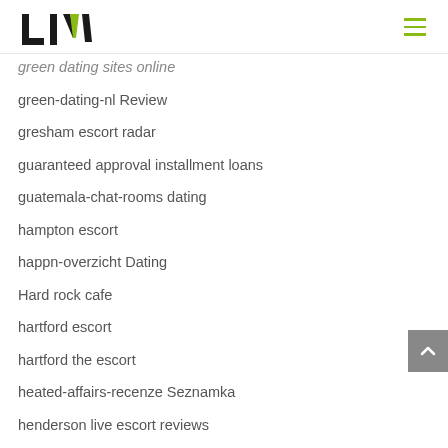LIV
green dating sites online
green-dating-nl Review
gresham escort radar
guaranteed approval installment loans
guatemala-chat-rooms dating
hampton escort
happn-overzicht Dating
Hard rock cafe
hartford escort
hartford the escort
heated-affairs-recenze Seznamka
henderson live escort reviews
hiE dating